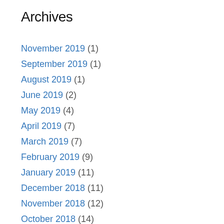Archives
November 2019 (1)
September 2019 (1)
August 2019 (1)
June 2019 (2)
May 2019 (4)
April 2019 (7)
March 2019 (7)
February 2019 (9)
January 2019 (11)
December 2018 (11)
November 2018 (12)
October 2018 (14)
September 2018 (10)